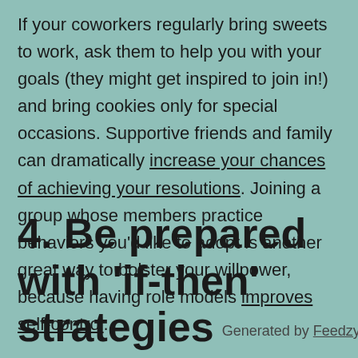If your coworkers regularly bring sweets to work, ask them to help you with your goals (they might get inspired to join in!) and bring cookies only for special occasions. Supportive friends and family can dramatically increase your chances of achieving your resolutions. Joining a group whose members practice behaviors you'd like to adopt is another great way to bolster your willpower, because having role models improves self-control.
4. Be prepared with 'if-then' strategies
Generated by Feedzy